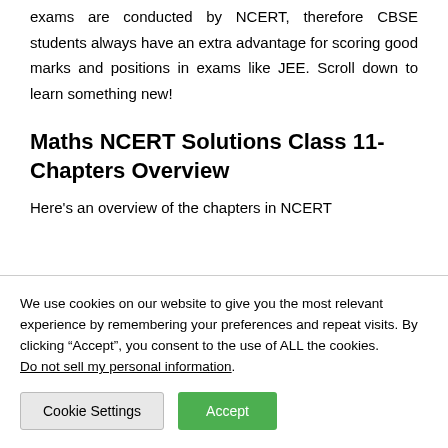exams are conducted by NCERT, therefore CBSE students always have an extra advantage for scoring good marks and positions in exams like JEE. Scroll down to learn something new!
Maths NCERT Solutions Class 11- Chapters Overview
Here's an overview of the chapters in NCERT
We use cookies on our website to give you the most relevant experience by remembering your preferences and repeat visits. By clicking “Accept”, you consent to the use of ALL the cookies.
Do not sell my personal information.